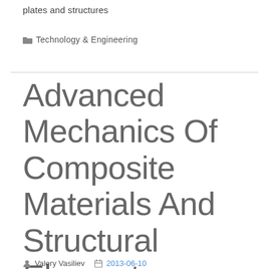plates and structures
Technology & Engineering
Advanced Mechanics Of Composite Materials And Structural Elements
Valery Vasiliev   2013-06-10